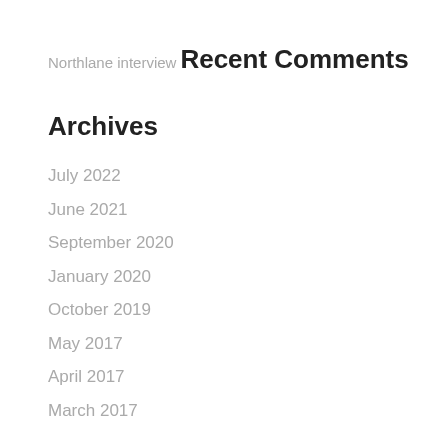Northlane interview
Recent Comments
Archives
July 2022
June 2021
September 2020
January 2020
October 2019
May 2017
April 2017
March 2017